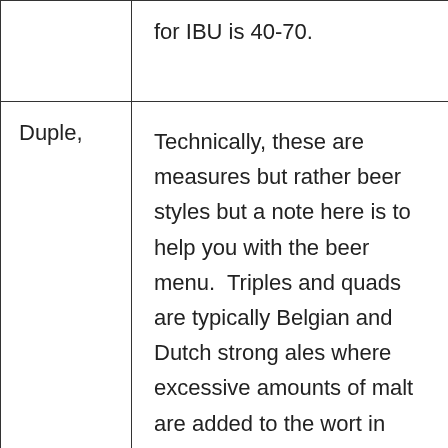|  | for IBU is 40-70. |
| Duple, | Technically, these are measures but rather beer styles but a note here is to help you with the beer menu.  Triples and quads are typically Belgian and Dutch strong ales where excessive amounts of malt are added to the wort in order to drive up the |